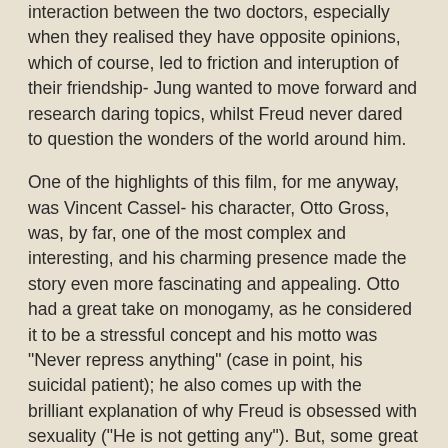interaction between the two doctors, especially when they realised they have opposite opinions, which of course, led to friction and interuption of their friendship- Jung wanted to move forward and research daring topics, whilst Freud never dared to question the wonders of the world around him.
One of the highlights of this film, for me anyway, was Vincent Cassel- his character, Otto Gross, was, by far, one of the most complex and interesting, and his charming presence made the story even more fascinating and appealing. Otto had a great take on monogamy, as he considered it to be a stressful concept and his motto was "Never repress anything" (case in point, his suicidal patient); he also comes up with the brilliant explanation of why Freud is obsessed with sexuality ("He is not getting any"). But, some great things never last long, so he dissapperead rather quickly.
Viggo Mortensen, as Freud, is good, and surprisingly unrecognisable; I wasn't very keen on his performance, mainly because his character doesn't evolve, and his strict mind holds him back. I thought Michael Fassbender was great, but I never stoped to analyse him or think about what